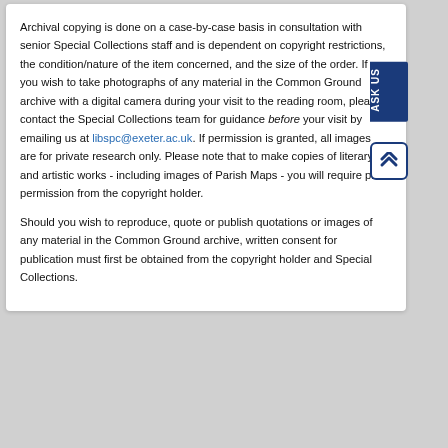Archival copying is done on a case-by-case basis in consultation with senior Special Collections staff and is dependent on copyright restrictions, the condition/nature of the item concerned, and the size of the order. If you wish to take photographs of any material in the Common Ground archive with a digital camera during your visit to the reading room, please contact the Special Collections team for guidance before your visit by emailing us at libspc@exeter.ac.uk. If permission is granted, all images are for private research only. Please note that to make copies of literary and artistic works - including images of Parish Maps - you will require prior permission from the copyright holder.
Should you wish to reproduce, quote or publish quotations or images of any material in the Common Ground archive, written consent for publication must first be obtained from the copyright holder and Special Collections.